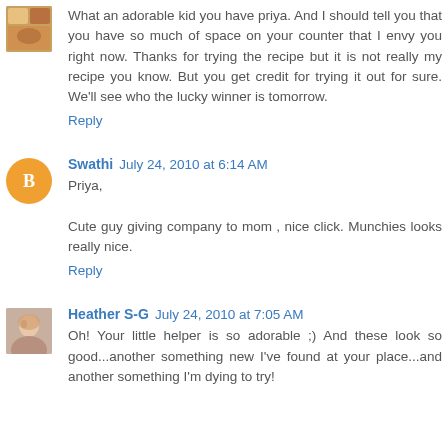[Figure (photo): Small food photo avatar thumbnail]
What an adorable kid you have priya. And I should tell you that you have so much of space on your counter that I envy you right now. Thanks for trying the recipe but it is not really my recipe you know. But you get credit for trying it out for sure. We'll see who the lucky winner is tomorrow.
Reply
[Figure (illustration): Blogger orange circle avatar with white B logo icon]
Swathi  July 24, 2010 at 6:14 AM
Priya,

Cute guy giving company to mom , nice click. Munchies looks really nice.
Reply
[Figure (photo): Profile photo of Heather S-G, woman with light hair]
Heather S-G  July 24, 2010 at 7:05 AM
Oh! Your little helper is so adorable ;) And these look so good...another something new I've found at your place...and another something I'm dying to try!